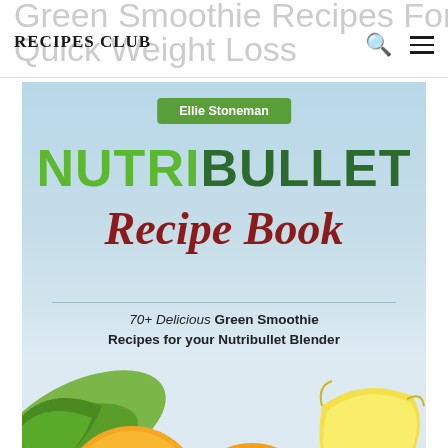Green Smoothie Recipes For Quick Weight Loss | RECIPES CLUB
[Figure (illustration): Book cover for 'NutriBullet Recipe Book' by Ellie Stoneman. Shows green and dark green bold text 'NUTRIBULLET' with italic red script text 'Recipe Book' on a light blue gradient background. Below is subtitle '70+ Delicious Green Smoothie Recipes for your Nutribullet Blender'. Bottom portion shows fresh fruits and vegetables including oranges, banana, and green leaves.]